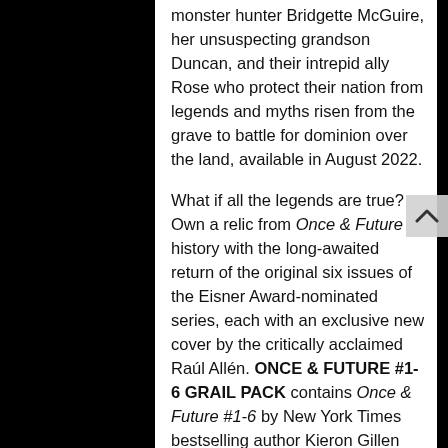monster hunter Bridgette McGuire, her unsuspecting grandson Duncan, and their intrepid ally Rose who protect their nation from legends and myths risen from the grave to battle for dominion over the land, available in August 2022.
What if all the legends are true? Own a relic from Once & Future history with the long-awaited return of the original six issues of the Eisner Award-nominated series, each with an exclusive new cover by the critically acclaimed Raúl Allén. ONCE & FUTURE #1-6 GRAIL PACK contains Once & Future #1-6 by New York Times bestselling author Kieron Gillen and Russ Manning Award-winning artist Dan Mora.
ONCE & FUTURE is the newest release from BOOM! Studios' eponymous imprint, home to critically acclaimed original series, including